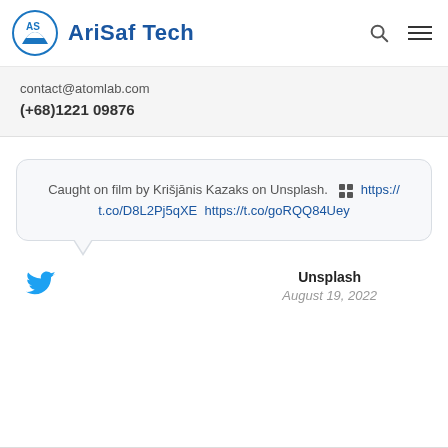AriSaf Tech
contact@atomlab.com
(+68)1221 09876
Caught on film by Krišjānis Kazaks on Unsplash. 🧱 https://t.co/D8L2Pj5qXE  https://t.co/goRQQ84Uey
Unsplash
August 19, 2022